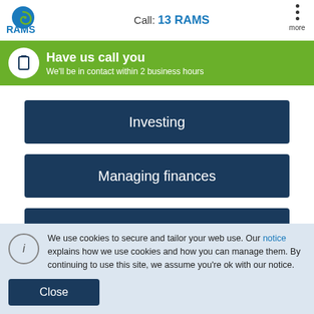Call: 13 RAMS
Have us call you
We'll be in contact within 2 business hours
Investing
Managing finances
Refinancing
We use cookies to secure and tailor your web use. Our notice explains how we use cookies and how you can manage them. By continuing to use this site, we assume you're ok with our notice.
Close